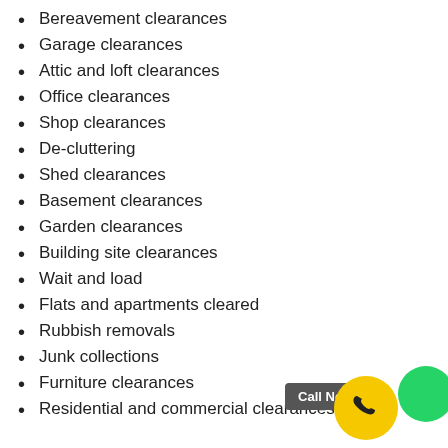Bereavement clearances
Garage clearances
Attic and loft clearances
Office clearances
Shop clearances
De-cluttering
Shed clearances
Basement clearances
Garden clearances
Building site clearances
Wait and load
Flats and apartments cleared
Rubbish removals
Junk collections
Furniture clearances
Residential and commercial clearances